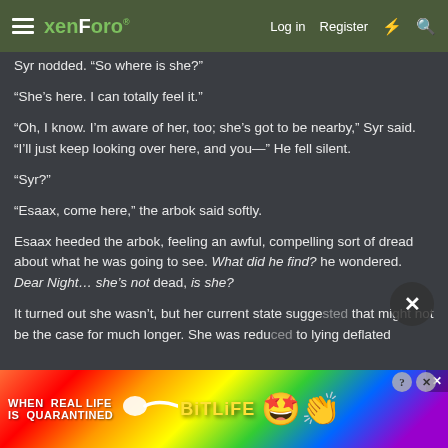xenForo — Log in  Register
Syr nodded. “So where is she?”
“She’s here. I can totally feel it.”
“Oh, I know. I’m aware of her, too; she’s got to be nearby,” Syr said. “I’ll just keep looking over here, and you—” He fell silent.
“Syr?”
“Esaax, come here,” the arbok said softly.
Esaax heeded the arbok, feeling an awful, compelling sort of dread about what he was going to see. What did he find? he wondered. Dear Night… she’s not dead, is she?
It turned out she wasn’t, but her current state suggested that might not be the case for much longer. She was reduced to lying deflated
[Figure (screenshot): Advertisement banner: colorful rainbow background with text 'WHEN REAL LIFE IS QUARANTINED' and BitLife branding with emoji characters]